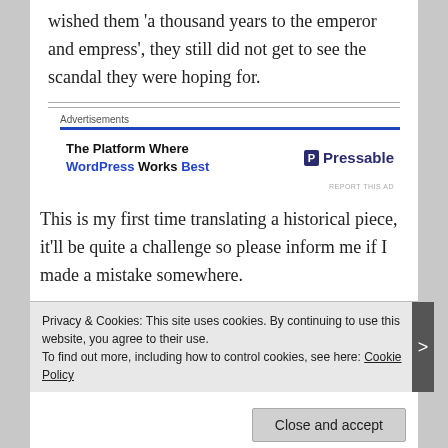wished them 'a thousand years to the emperor and empress', they still did not get to see the scandal they were hoping for.
[Figure (infographic): Advertisement for Pressable: 'The Platform Where WordPress Works Best' with blue header bar and Pressable logo on right]
This is my first time translating a historical piece, it'll be quite a challenge so please inform me if I made a mistake somewhere.
Privacy & Cookies: This site uses cookies. By continuing to use this website, you agree to their use. To find out more, including how to control cookies, see here: Cookie Policy
Close and accept